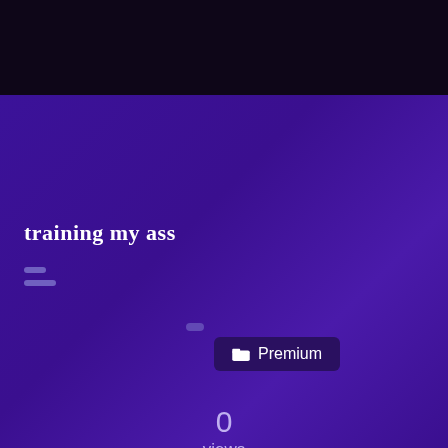training my ass
Premium
0
views
0 / 0